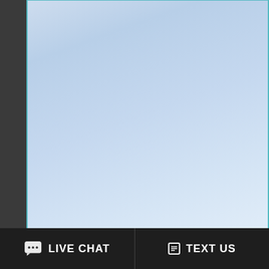[Figure (screenshot): Left side blue gradient panel with teal border]
Seniors/Older Ad...
3033 Wes...
Additional Services O... Addiction Treatment P...
Specialty Progra... Persons With Co-Occurring... Substance Abuse Di... Gays And Lesbia... Seniors/Older Ad...
645 South...
Co...
Pa...
LIVE CHAT   TEXT US